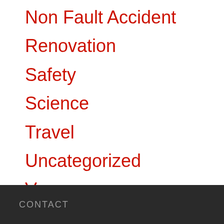Non Fault Accident
Renovation
Safety
Science
Travel
Uncategorized
Van
CONTACT